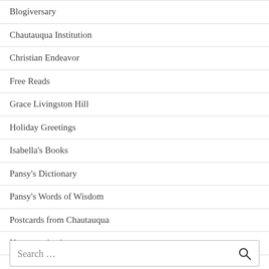Blogiversary
Chautauqua Institution
Christian Endeavor
Free Reads
Grace Livingston Hill
Holiday Greetings
Isabella's Books
Pansy's Dictionary
Pansy's Words of Wisdom
Postcards from Chautauqua
Uncategorized
Search ...